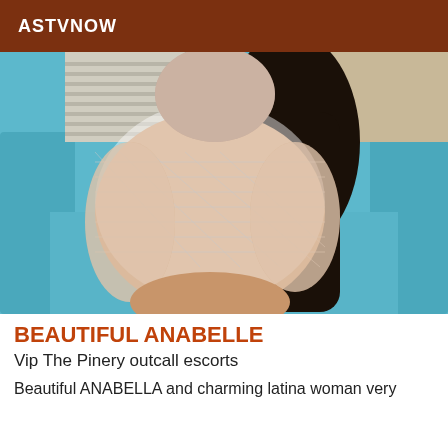ASTVNOW
[Figure (photo): Woman wearing white fishnet top, seated, with blurred face, against teal/blue background]
BEAUTIFUL ANABELLE
Vip The Pinery outcall escorts
Beautiful ANABELLA and charming latina woman very